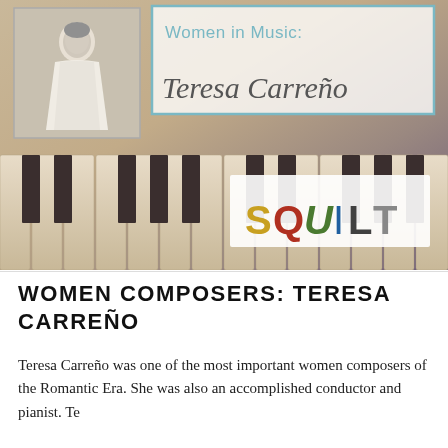[Figure (illustration): Banner image featuring a piano keyboard background with warm beige and purple tones. In the upper left is a vintage black-and-white photo of a woman in a white dress. In the upper right area is a text overlay box reading 'Women in Music: Teresa Carreño' in a light teal and italic serif script. Centered at the bottom of the banner is the SQUILT logo with colorful letters on a white background.]
WOMEN COMPOSERS: TERESA CARREÑO
Teresa Carreño was one of the most important women composers of the Romantic Era. She was also an accomplished conductor and pianist. Te